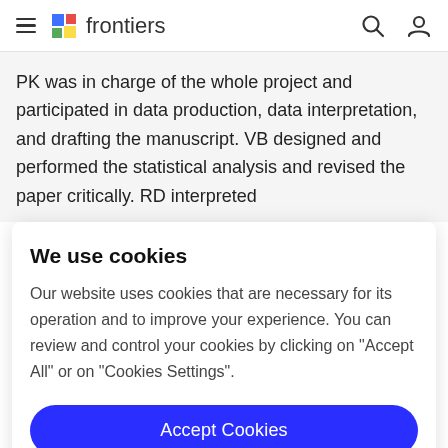frontiers
PK was in charge of the whole project and participated in data production, data interpretation, and drafting the manuscript. VB designed and performed the statistical analysis and revised the paper critically. RD interpreted
We use cookies
Our website uses cookies that are necessary for its operation and to improve your experience. You can review and control your cookies by clicking on "Accept All" or on "Cookies Settings".
Accept Cookies
Cookies Settings